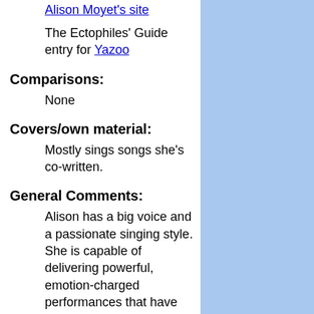Alison Moyet's site
The Ectophiles' Guide entry for Yazoo
Comparisons:
None
Covers/own material:
Mostly sings songs she's co-written.
General Comments:
Alison has a big voice and a passionate singing style. She is capable of delivering powerful, emotion-charged performances that have more than a hint of the blues about them. She originally came to prominence as the voice of Yazoo (known as Yaz